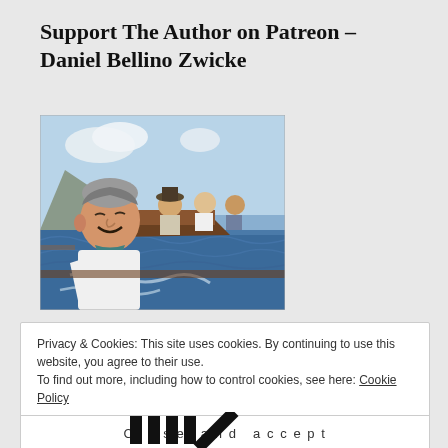Support The Author on Patreon – Daniel Bellino Zwicke
[Figure (illustration): Stylized artistic illustration of a man taking a selfie on a boat at sea, with rocky cliffs in the background and other passengers visible. The image has a painterly/cartoon filter applied.]
Privacy & Cookies: This site uses cookies. By continuing to use this website, you agree to their use.
To find out more, including how to control cookies, see here: Cookie Policy
Close and accept